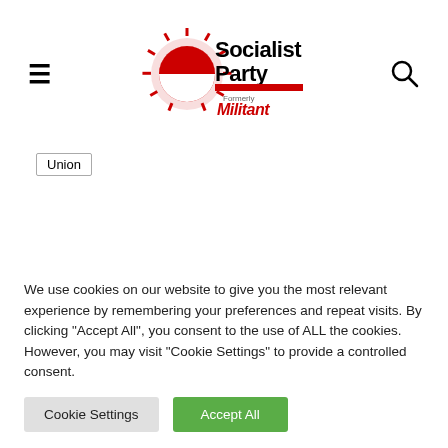[Figure (logo): Socialist Party (Formerly Militant) logo with sunburst and red banner]
Union
[Figure (infographic): Social sharing icons row: Facebook (blue circle), Twitter (cyan circle), WhatsApp (green circle), Email (black circle), Print (dark grey circle)]
We use cookies on our website to give you the most relevant experience by remembering your preferences and repeat visits. By clicking "Accept All", you consent to the use of ALL the cookies. However, you may visit "Cookie Settings" to provide a controlled consent.
Cookie Settings
Accept All